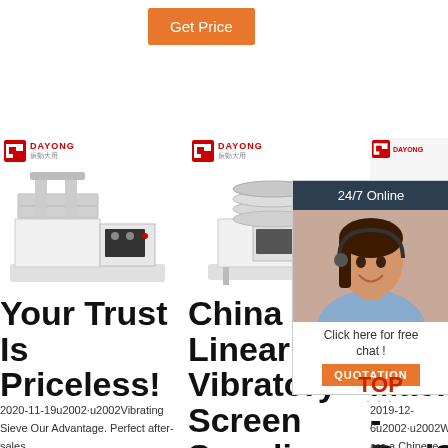Get Price
[Figure (photo): DAYONG branded vibrating sieve machine, white, left column]
[Figure (photo): DAYONG branded linear vibratory screen machine, white, center column]
[Figure (photo): DAYONG branded screen machine partially visible, right column, with 24/7 Online chat overlay showing customer service representative]
Your Trust Is Priceless!
2020-11-19u2002·u2002Vibrating Sieve Our Advantage. Perfect after-sales
China Linear Vibratory Screen Suppliers & Manufacturers
Vi Sc Machines - RedStarScr
2019-12-6u2002·u2002We are a Chinese based